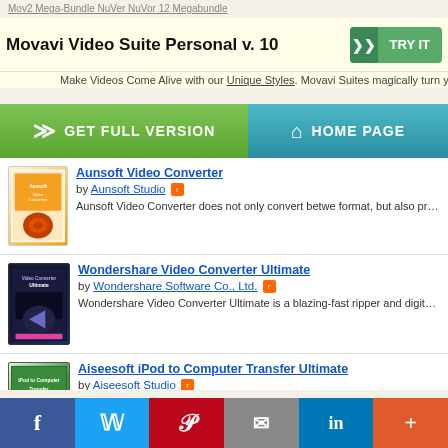Movavi Video Suite Personal v. 10
[Figure (screenshot): Green GET FULL VERSION button and teal HOME PAGE button]
Aunsoft Video Converter
by Aunsoft Studio - Aunsoft Video Converter does not only convert between format, but also provide easy video editing function to customize...
Wondershare Video Converter Ultimate
by Wondershare Software Co., Ltd. - Wondershare Video Converter Ultimate is a blazing-fast ripper and digital video converter that also lets you convert...
Aiseesoft iPod to Computer Transfer Ultimate
by Aiseesoft Studio
[Figure (infographic): Social share bar with Facebook, Twitter, Pinterest, Email, LinkedIn, and More buttons]